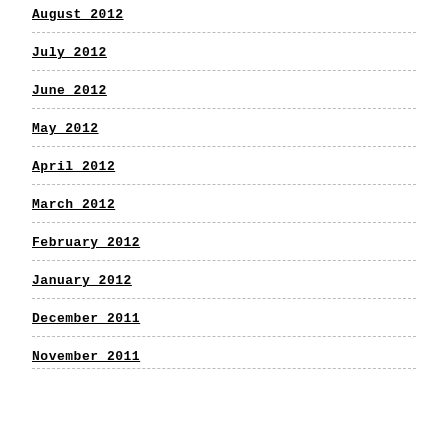August 2012
July 2012
June 2012
May 2012
April 2012
March 2012
February 2012
January 2012
December 2011
November 2011